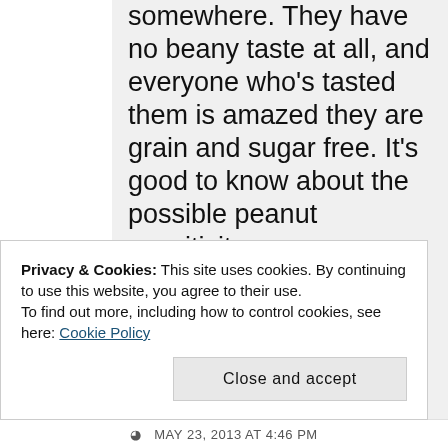somewhere. They have no beany taste at all, and everyone who's tasted them is amazed they are grain and sugar free. It's good to know about the possible peanut sensitivity. I've never seen lupin flour here in Canada, and this is the first recipe I've come across calling for it.
Privacy & Cookies: This site uses cookies. By continuing to use this website, you agree to their use. To find out more, including how to control cookies, see here: Cookie Policy
MAY 23, 2013 AT 4:46 PM